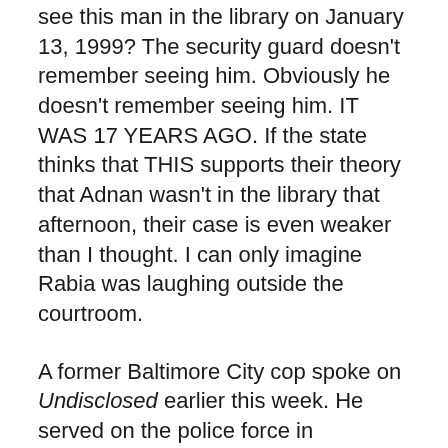see this man in the library on January 13, 1999? The security guard doesn't remember seeing him. Obviously he doesn't remember seeing him. IT WAS 17 YEARS AGO. If the state thinks that THIS supports their theory that Adnan wasn't in the library that afternoon, their case is even weaker than I thought. I can only imagine Rabia was laughing outside the courtroom.
A former Baltimore City cop spoke on Undisclosed earlier this week. He served on the police force in Baltimore for 11 years, but has since become an activist against police corruption. He thinks it's possible that the police didn't put enough thought into this case because it revolved around minorities. Maybe the police weren't concerned about getting justice for Hae because she was a Korean immigrant. And the second they saw an opportunity to blame the whole thing on the Muslim kid, they made